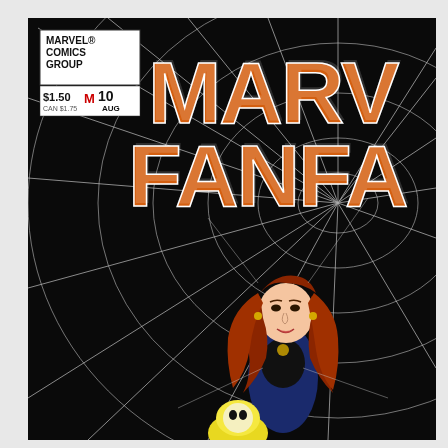[Figure (illustration): Marvel Fanfare #10 comic book cover. Black background with large orange and white 3D lettering reading 'MARVEL FANFA' (cut off at right edge). Top left has a white box with 'MARVEL COMICS GROUP' text, '$1.50' price, issue number '10', and 'AUG' month. A large white spider web fills most of the background. In the center-right a female character with long red/auburn hair wearing a blue and black outfit is caught in the web, with a yellow/blonde character below her. The overall color scheme is black, orange, white, and red.]